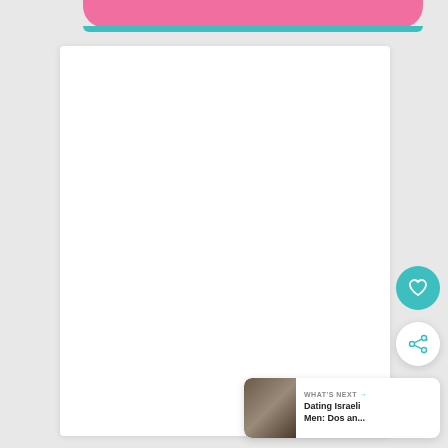[Figure (screenshot): Website screenshot showing a pink rounded banner at the top, a white content card in the center, a teal heart button, a white share button, and a 'What's Next' card showing 'Dating Israeli Men: Dos an...' with a thumbnail photo]
WHAT'S NEXT → Dating Israeli Men: Dos an...